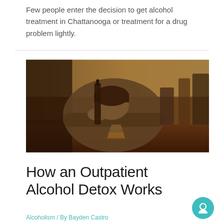Few people enter the decision to get alcohol treatment in Chattanooga or treatment for a drug problem lightly.
[Figure (photo): A man sitting at a bar with his head bowed down resting on his hands clasped over a bottle, with a glass of whiskey in front of him on the counter.]
How an Outpatient Alcohol Detox Works
Alcoholism / By Bayden Castro